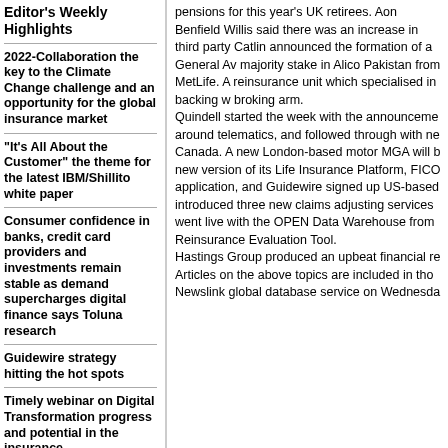Editor's Weekly Highlights
2022-Collaboration the key to the Climate Change challenge and an opportunity for the global insurance market
"It's All About the Customer" the theme for the latest IBM/Shillito white paper
Consumer confidence in banks, credit card providers and investments remain stable as demand supercharges digital finance says Toluna research
Guidewire strategy hitting the hot spots
Timely webinar on Digital Transformation progress and potential in the insurance
pensions for this year's UK retirees. Aon Benfield Willis said there was an increase in third party Catlin announced the formation of a General Av majority stake in Alico Pakistan from MetLife. A reinsurance unit which specialised in backing w broking arm.
Quindell started the week with the announceme around telematics, and followed through with ne Canada. A new London-based motor MGA will b new version of its Life Insurance Platform, FICO application, and Guidewire signed up US-based introduced three new claims adjusting services went live with the OPEN Data Warehouse from Reinsurance Evaluation Tool.
Hastings Group produced an upbeat financial re Articles on the above topics are included in tho Newslink global database service on Wednesda